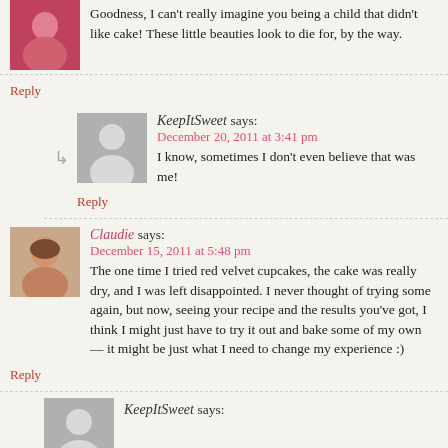Goodness, I can't really imagine you being a child that didn't like cake! These little beauties look to die for, by the way.
Reply
KeepItSweet says:
December 20, 2011 at 3:41 pm
I know, sometimes I don't even believe that was me!
Reply
Claudie says:
December 15, 2011 at 5:48 pm
The one time I tried red velvet cupcakes, the cake was really dry, and I was left disappointed. I never thought of trying some again, but now, seeing your recipe and the results you've got, I think I might just have to try it out and bake some of my own — it might be just what I need to change my experience :)
Reply
KeepItSweet says: